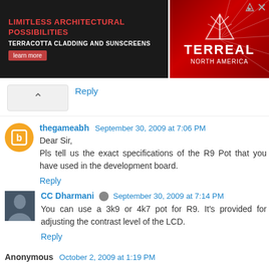[Figure (illustration): Advertisement banner: Left side dark background with red text 'LIMITLESS ARCHITECTURAL POSSIBILITIES', subtitle 'TERRACOTTA CLADDING AND SUNSCREENS', red learn more button. Right side red gradient with TERREAL NORTH AMERICA logo.]
Reply
thegameabh  September 30, 2009 at 7:06 PM
Dear Sir,
Pls tell us the exact specifications of the R9 Pot that you have used in the development board.
Reply
CC Dharmani  September 30, 2009 at 7:14 PM
You can use a 3k9 or 4k7 pot for R9. It's provided for adjusting the contrast level of the LCD.
Reply
Anonymous  October 2, 2009 at 1:19 PM